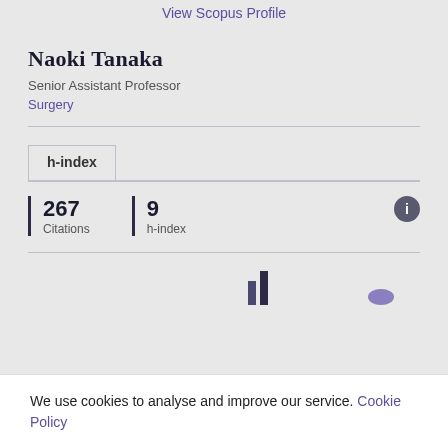View Scopus Profile
Naoki Tanaka
Senior Assistant Professor
Surgery
h-index
267 Citations
9 h-index
[Figure (bar-chart): Partial bar chart visible at bottom of page, bars appear to show publication or citation data over time]
We use cookies to analyse and improve our service. Cookie Policy